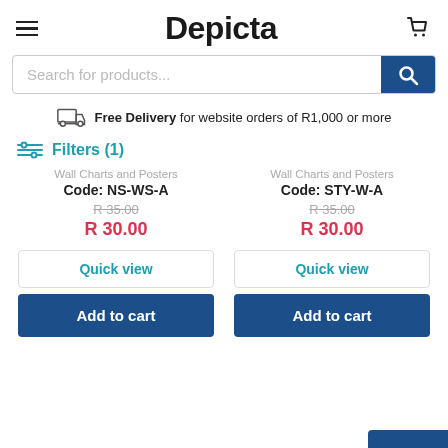Depicta
Search for products...
Free Delivery for website orders of R1,000 or more
Filters (1)
Wall Charts and Posters
Code: NS-WS-A
R 35.00
R 30.00
Wall Charts and Posters
Code: STY-W-A
R 35.00
R 30.00